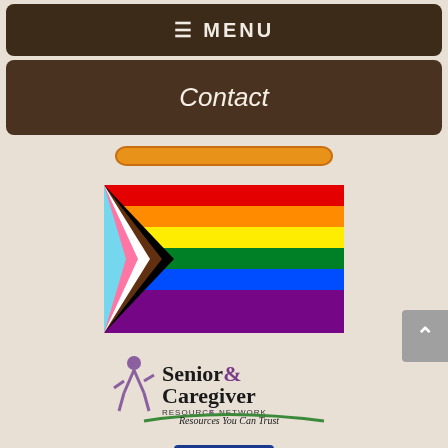≡ MENU
Contact
[Figure (illustration): Orange rounded button/banner]
[Figure (illustration): Progress Pride flag with rainbow stripes and chevron arrows in black, brown, white, pink, and blue]
[Figure (logo): Senior & Caregiver Resource Network logo with tagline 'Resources You Can Trust']
[Figure (logo): ICLE Contributor badge with blue rectangle and orange ribbon banner]